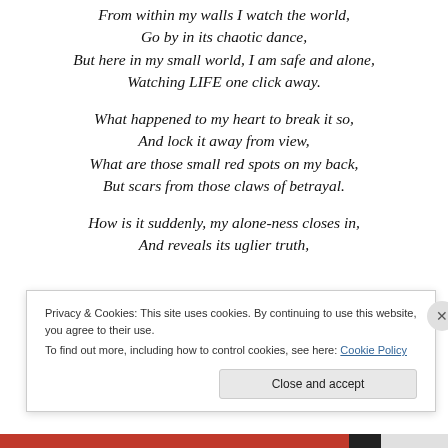From within my walls I watch the world,
Go by in its chaotic dance,
But here in my small world, I am safe and alone,
Watching LIFE one click away.
What happened to my heart to break it so,
And lock it away from view,
What are those small red spots on my back,
But scars from those claws of betrayal.
How is it suddenly, my alone-ness closes in,
And reveals its uglier truth,
Privacy & Cookies: This site uses cookies. By continuing to use this website, you agree to their use.
To find out more, including how to control cookies, see here: Cookie Policy